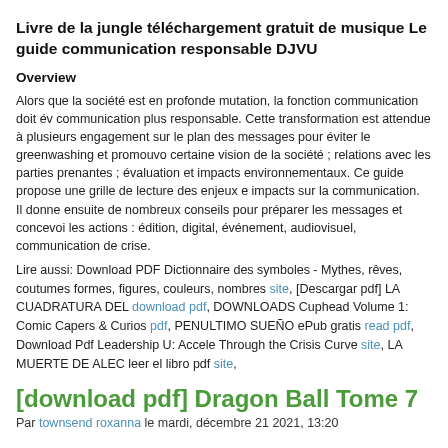Livre de la jungle téléchargement gratuit de musique Le guide communication responsable DJVU
Overview
Alors que la société est en profonde mutation, la fonction communication doit év communication plus responsable. Cette transformation est attendue à plusieurs engagement sur le plan des messages pour éviter le greenwashing et promouvo certaine vision de la société ; relations avec les parties prenantes ; évaluation et impacts environnementaux. Ce guide propose une grille de lecture des enjeux e impacts sur la communication.
Il donne ensuite de nombreux conseils pour préparer les messages et concevoi les actions : édition, digital, événement, audiovisuel, communication de crise.
Lire aussi: Download PDF Dictionnaire des symboles - Mythes, rêves, coutumes formes, figures, couleurs, nombres site, [Descargar pdf] LA CUADRATURA DEL download pdf, DOWNLOADS Cuphead Volume 1: Comic Capers & Curios pdf, PENULTIMO SUEÑO ePub gratis read pdf, Download Pdf Leadership U: Accele Through the Crisis Curve site, LA MUERTE DE ALEC leer el libro pdf site,
[download pdf] Dragon Ball Tome 7
Par townsend roxanna le mardi, décembre 21 2021, 13:20